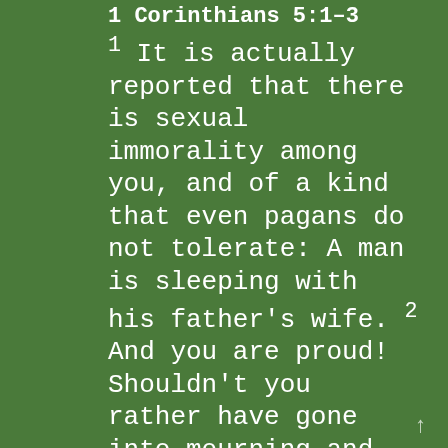1 Corinthians 5:1–3
1 It is actually reported that there is sexual immorality among you, and of a kind that even pagans do not tolerate: A man is sleeping with his father's wife. 2 And you are proud! Shouldn't you rather have gone into mourning and have put out of your fellowship the man who has been doing this? 3 For my part, even though I am not physically present, I am with you in spirit. As one who is present with you in this